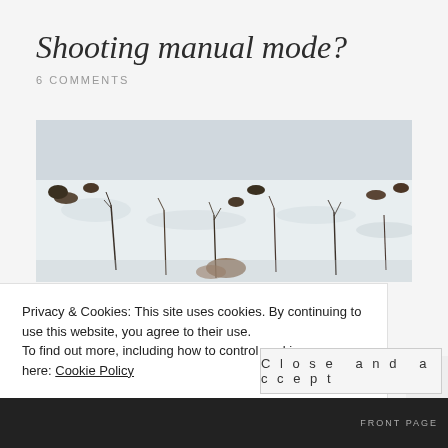Shooting manual mode?
6 COMMENTS
[Figure (photo): Winter snow scene with bare twigs and plant stems poking through a snow-covered field]
Privacy & Cookies: This site uses cookies. By continuing to use this website, you agree to their use.
To find out more, including how to control cookies, see here: Cookie Policy
Close and accept